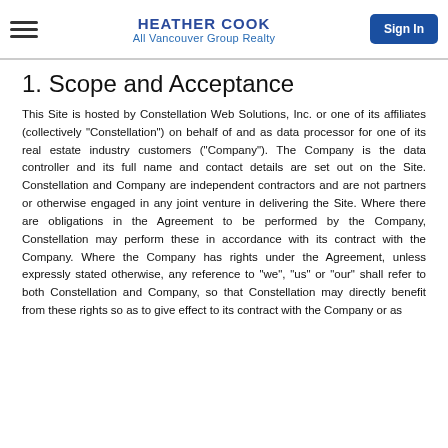HEATHER COOK
All Vancouver Group Realty
Sign In
1. Scope and Acceptance
This Site is hosted by Constellation Web Solutions, Inc. or one of its affiliates (collectively "Constellation") on behalf of and as data processor for one of its real estate industry customers ("Company"). The Company is the data controller and its full name and contact details are set out on the Site. Constellation and Company are independent contractors and are not partners or otherwise engaged in any joint venture in delivering the Site. Where there are obligations in the Agreement to be performed by the Company, Constellation may perform these in accordance with its contract with the Company. Where the Company has rights under the Agreement, unless expressly stated otherwise, any reference to "we", "us" or "our" shall refer to both Constellation and Company, so that Constellation may directly benefit from these rights so as to give effect to its contract with the Company or as